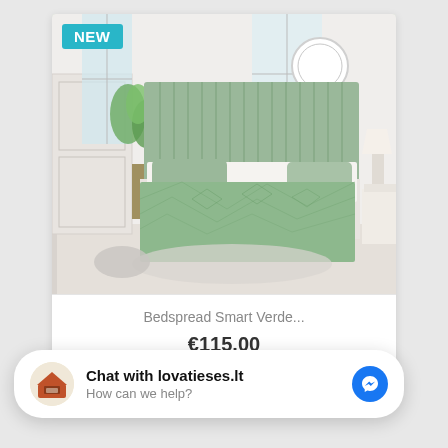[Figure (photo): Product card showing a sage/green bedspread on a bed in a modern white bedroom. A 'NEW' badge in teal is in the upper left corner of the card.]
Bedspread Smart Verde...
€115.00
[Figure (screenshot): Chat widget popup at bottom: logo of lovatieses.lt, bold text 'Chat with lovatieses.lt', subtext 'How can we help?', and blue Messenger icon on the right.]